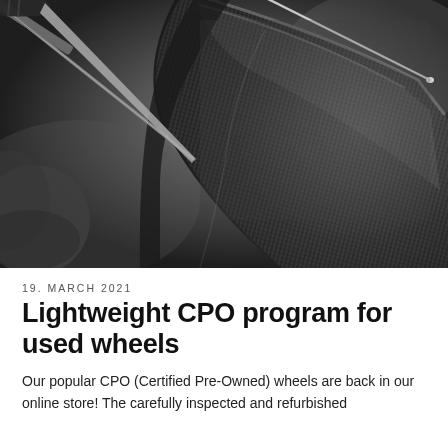[Figure (photo): Close-up photo of a tool (pick or awl) working on a dark carbon fiber or mesh bicycle wheel rim. The texture of the woven material is visible, with a metallic spoke visible in the upper right. A gloved hand is partially visible on the left.]
19. MARCH 2021
Lightweight CPO program for used wheels
Our popular CPO (Certified Pre-Owned) wheels are back in our online store! The carefully inspected and refurbished